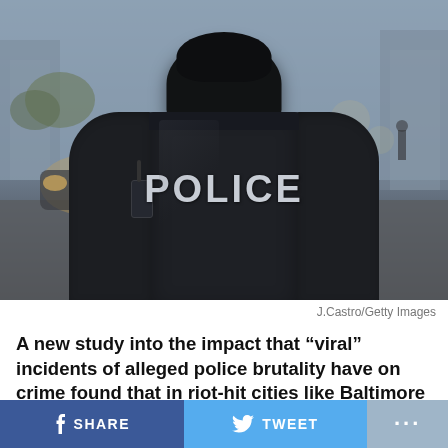[Figure (photo): Police officer seen from behind wearing a black jacket with 'POLICE' written in large letters, standing on a street with blurred cars and pedestrians in the background]
J.Castro/Getty Images
A new study into the impact that “viral” incidents of alleged police brutality have on crime found that in riot-hit cities like Baltimore and Ferguson, excess homicides and felonies rapidly spiked following highly publicized incidents.
SHARE   TWEET   ...